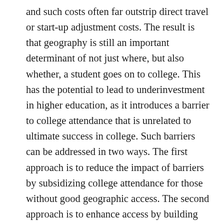and such costs often far outstrip direct travel or start-up adjustment costs. The result is that geography is still an important determinant of not just where, but also whether, a student goes on to college. This has the potential to lead to underinvestment in higher education, as it introduces a barrier to college attendance that is unrelated to ultimate success in college. Such barriers can be addressed in two ways. The first approach is to reduce the impact of barriers by subsidizing college attendance for those without good geographic access. The second approach is to enhance access by building new colleges or college system branches in underserved areas. The first approach is likely to be substantially cheaper, but the second entails potential spillovers to affected communities that might nevertheless make it a cost-beneficial strategy